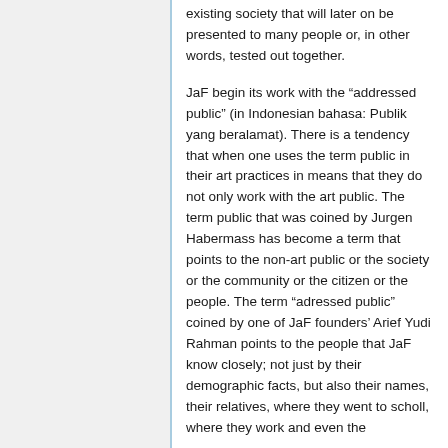existing society that will later on be presented to many people or, in other words, tested out together.
JaF begin its work with the “addressed public” (in Indonesian bahasa: Publik yang beralamat). There is a tendency that when one uses the term public in their art practices in means that they do not only work with the art public. The term public that was coined by Jurgen Habermass has become a term that points to the non-art public or the society or the community or the citizen or the people. The term “adressed public” coined by one of JaF founders’ Arief Yudi Rahman points to the people that JaF know closely; not just by their demographic facts, but also their names, their relatives, where they went to scholl, where they work and even the